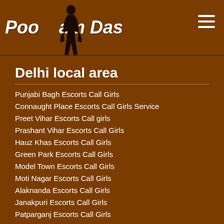Poonam Das
Delhi local area
Punjabi Bagh Escorts Call Girls
Connaught Place Escorts Call Girls Service
Preet Vihar Escorts Call girls
Prashant Vihar Escorts Call Girls
Hauz Khas Escorts Call Girls
Green Park Escorts Call Girls
Model Town Escorts Call Girls
Moti Nagar Escorts Call Girls
Alaknanda Escorts Call Girls
Janakpuri Escorts Call Girls
Patparganj Escorts Call Girls